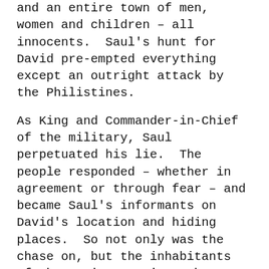and an entire town of men, women and children – all innocents.  Saul's hunt for David pre-empted everything except an outright attack by the Philistines.
As King and Commander-in-Chief of the military, Saul perpetuated his lie.  The people responded – whether in agreement or through fear – and became Saul's informants on David's location and hiding places.  So not only was the chase on, but the inhabitants of the various regions where David was seeking refuge (who actually benefited from David's presence), literally joined Saul.  At the same time, others who were distressed or disaffected with Saul gathered around David.  The result was that Saul's lie divided Israel in the midst of the nation's war against enemy dominance.  Jesus spoke an applicable truth,  “If a